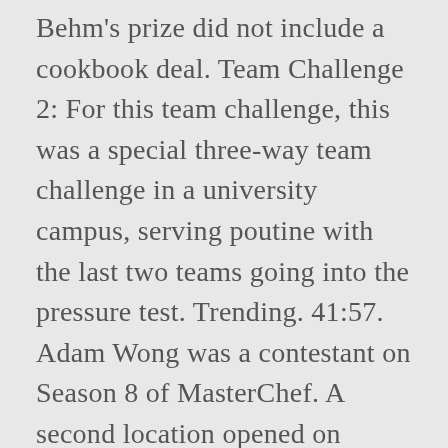Behm's prize did not include a cookbook deal. Team Challenge 2: For this team challenge, this was a special three-way team challenge in a university campus, serving poutine with the last two teams going into the pressure test. Trending. 41:57. Adam Wong was a contestant on Season 8 of MasterChef. A second location opened on December 23, 2016 at 200–2070 Sumas Way in the Abbotsford Village Shopping Centre. masterchef. Mystery Box 5: The contestants were given a mystery box, and the top three dishes were Sabrina's, Line's, and David's. The winner was Logan Guleff, an 11-year-old from Memphis, Tennessee, with 12-year-old Samuel Stromberg from Greenbrae, California being